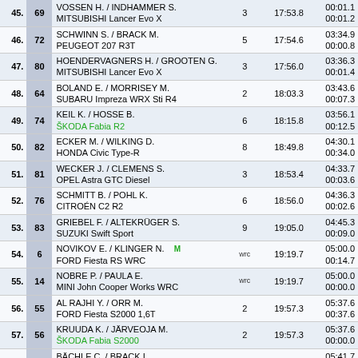| Pos | No | Driver / Car | Grp | Time | Gap |
| --- | --- | --- | --- | --- | --- |
| 45. | 69 | VOSSEN H. / INDHAMMER S.
MITSUBISHI Lancer Evo X | 3 | 17:53.8 | 00:01.1
00:01.2 |
| 46. | 72 | SCHWINN S. / BRACK M.
PEUGEOT 207 R3T | 5 | 17:54.6 | 03:34.9
00:00.8 |
| 47. | 80 | HOENDERVAGNERS H. / GROOTEN G.
MITSUBISHI Lancer Evo X | 3 | 17:56.0 | 03:36.3
00:01.4 |
| 48. | 64 | BOLAND E. / MORRISEY M.
SUBARU Impreza WRX Sti R4 | 2 | 18:03.3 | 03:43.6
00:07.3 |
| 49. | 74 | KEIL K. / HOSSE B.
ŠKODA Fabia R2 | 6 | 18:15.8 | 03:56.1
00:12.5 |
| 50. | 82 | ECKER M. / WILKING D.
HONDA Civic Type-R | 8 | 18:49.8 | 04:30.1
00:34.0 |
| 51. | 81 | WECKER J. / CLEMENS S.
OPEL Astra GTC Diesel | 3 | 18:53.4 | 04:33.7
00:03.6 |
| 52. | 76 | SCHMITT B. / POHL K.
CITROÉN C2 R2 | 6 | 18:56.0 | 04:36.3
00:02.6 |
| 53. | 83 | GRIEBEL F. / ALTEKRÜGER S.
SUZUKI Swift Sport | 9 | 19:05.0 | 04:45.3
00:09.0 |
| 54. | 6 | NOVIKOV E. / KLINGER N.
FORD Fiesta RS WRC [M] | wrc | 19:19.7 | 05:00.0
00:14.7 |
| 55. | 14 | NOBRE P. / PAULA E.
MINI John Cooper Works WRC | wrc | 19:19.7 | 05:00.0
00:00.0 |
| 56. | 55 | AL RAJHI Y. / ORR M.
FORD Fiesta S2000 1,6T | 2 | 19:57.3 | 05:37.6
00:37.6 |
| 57. | 56 | KRUUDA K. / JÄRVEOJA M.
ŠKODA Fabia S2000 | 2 | 19:57.3 | 05:37.6
00:00.0 |
| 58. | 84 | BÄCHLE C. / BRACK I.
SUZUKI Swift Sport | 9 | 20:01.4 | 05:41.7
00:04.1 |
| 59. | 71 | VIHMA P. / SOHLBERG K.
CITROÉN DS3 R3T | 5 | 20:24.5 | 06:04.8
00:23.1 |
| 60. | 36 | COOK L. / DAVIS S. [P]
FORD Fiesta R2 | 6 | 20:51.9 | 06:32.2
00:27.4 |
| 61. | 39 | GORBAN V. / NIKOLAYEV A. [P]
MITSUBISHI Lancer Evo IX | 3 | 20:51.9 | 06:32.2
00:00.0 |